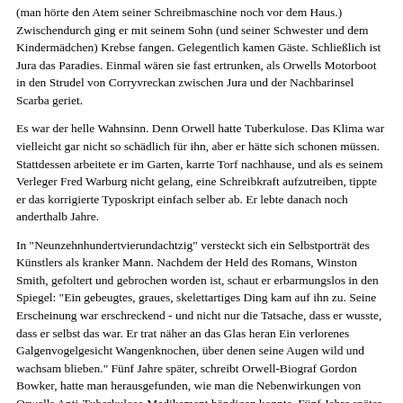(man hörte den Atem seiner Schreibmaschine noch vor dem Haus.) Zwischendurch ging er mit seinem Sohn (und seiner Schwester und dem Kindermädchen) Krebse fangen. Gelegentlich kamen Gäste. Schließlich ist Jura das Paradies. Einmal wären sie fast ertrunken, als Orwells Motorboot in den Strudel von Corryvreckan zwischen Jura und der Nachbarinsel Scarba geriet.
Es war der helle Wahnsinn. Denn Orwell hatte Tuberkulose. Das Klima war vielleicht gar nicht so schädlich für ihn, aber er hätte sich schonen müssen. Stattdessen arbeitete er im Garten, karrte Torf nachhause, und als es seinem Verleger Fred Warburg nicht gelang, eine Schreibkraft aufzutreiben, tippte er das korrigierte Typoskript einfach selber ab. Er lebte danach noch anderthalb Jahre.
In "Neunzehnhundertvierundachtzig" versteckt sich ein Selbstporträt des Künstlers als kranker Mann. Nachdem der Held des Romans, Winston Smith, gefoltert und gebrochen worden ist, schaut er erbarmungslos in den Spiegel: "Ein gebeugtes, graues, skelettartiges Ding kam auf ihn zu. Seine Erscheinung war erschreckend - und nicht nur die Tatsache, dass er wusste, dass er selbst das war. Er trat näher an das Glas heran Ein verlorenes Galgenvogelgesicht Wangenknochen, über denen seine Augen wild und wachsam blieben." Fünf Jahre später, schreibt Orwell-Biograf Gordon Bowker, hatte man herausgefunden, wie man die Nebenwirkungen von Orwells Anti-Tuberkulose-Medikament bändigen konnte. Fünf Jahre später wusste man auch, wie schädlich Rauchen für die Lungen ist.
Was geht uns das alles heute an? Tuberkulose ist heilbar. Und der Totalitarismus des 20. Jahrhunderts ist anno 1989 ins Grab gesunken. Die alten Geschichten sind passé, irrelevant. Oder?